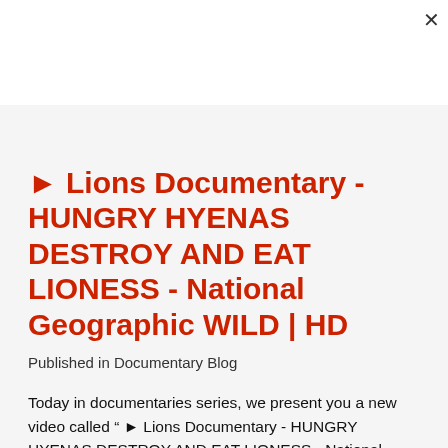► Lions Documentary - HUNGRY HYENAS DESTROY AND EAT LIONESS - National Geographic WILD | HD
Published in Documentary Blog
Today in documentaries series, we present you a new video called " ► Lions Documentary - HUNGRY HYENAS DESTROY AND EAT LIONESS - National Geographic WILD | HD " documentary. You can click the title or image to visit article and watch the video. Details are in the article. Have